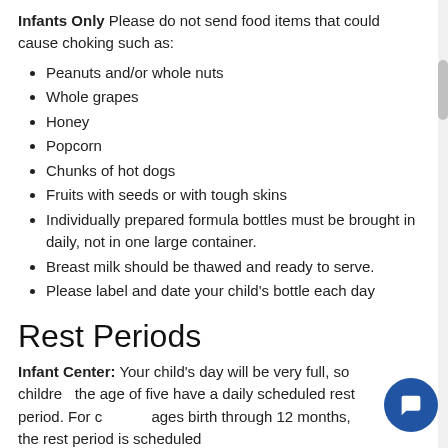Infants Only Please do not send food items that could cause choking such as:
Peanuts and/or whole nuts
Whole grapes
Honey
Popcorn
Chunks of hot dogs
Fruits with seeds or with tough skins
Individually prepared formula bottles must be brought in daily, not in one large container.
Breast milk should be thawed and ready to serve.
Please label and date your child's bottle each day
Rest Periods
Infant Center: Your child's day will be very full, so children the age of five have a daily scheduled rest period. For children ages birth through 12 months, the rest period is scheduled